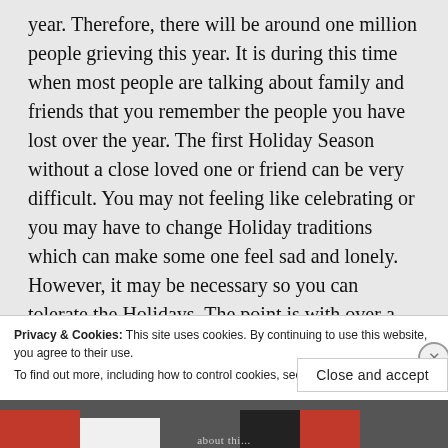year. Therefore, there will be around one million people grieving this year. It is during this time when most people are talking about family and friends that you remember the people you have lost over the year. The first Holiday Season without a close loved one or friend can be very difficult. You may not feeling like celebrating or you may have to change Holiday traditions which can make some one feel sad and lonely. However, it may be necessary so you can tolerate the Holidays. The point is with over a million people grieving this year, the Holidays will be very difficult for many
Privacy & Cookies: This site uses cookies. By continuing to use this website, you agree to their use.
To find out more, including how to control cookies, see here: Cookie Policy
Close and accept